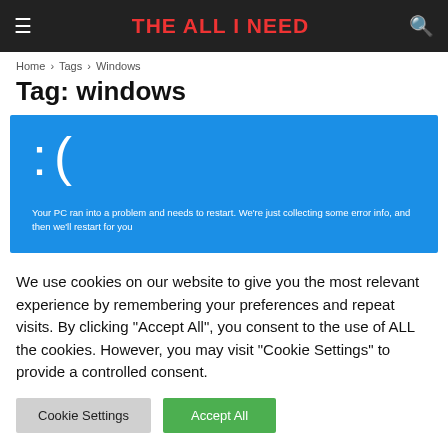THE ALL I NEED
Home › Tags › Windows
Tag: windows
[Figure (screenshot): Windows Blue Screen of Death (BSOD) screenshot with sad face emoticon ':(' and text: 'Your PC ran into a problem and needs to restart. We're just collecting some error info, and then we'll restart for you']
We use cookies on our website to give you the most relevant experience by remembering your preferences and repeat visits. By clicking "Accept All", you consent to the use of ALL the cookies. However, you may visit "Cookie Settings" to provide a controlled consent.
Cookie Settings   Accept All